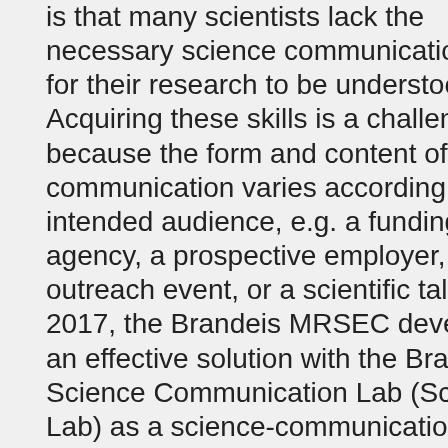is that many scientists lack the necessary science communication skills for their research to be understood. Acquiring these skills is a challenge because the form and content of the communication varies according to the intended audience, e.g. a funding agency, a prospective employer, an outreach event, or a scientific talk. In 2017, the Brandeis MRSEC developed an effective solution with the Brandeis Science Communication Lab (SciComm Lab) as a science-communication resource center that offers individual coaching with peer mentors and targeted workshops for the entire Division of Science
Type: Other